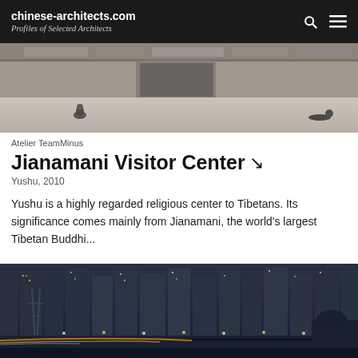chinese-architects.com Profiles of Selected Architects
[Figure (photo): Exterior photo of Jianamani Visitor Center in black and white, showing stone walls and a courtyard with a seated figure]
Atelier TeamMinus
Jianamani Visitor Center ↘
Yushu, 2010
Yushu is a highly regarded religious center to Tibetans. Its significance comes mainly from Jianamani, the world's largest Tibetan Buddhi...
[Figure (photo): Nighttime cityscape photo showing residential high-rise towers with street lights and power lines in the foreground]